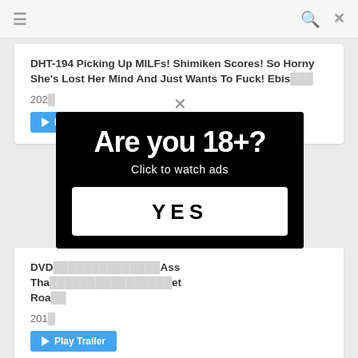≡   🔍  ✕
DHT-194 Picking Up MILFs! Shimiken Scores! So Horny She's Lost Her Mind And Just Wants To Fuck! Ebis...
2020
[Figure (screenshot): Blue play trailer button]
[Figure (infographic): Age verification modal popup on black background with text 'Are you 18+?' and 'Click to watch ads' and a YES button]
DVD... ...Ass That... ...et Road...
2019
[Figure (screenshot): Blue Play Trailer button at bottom]